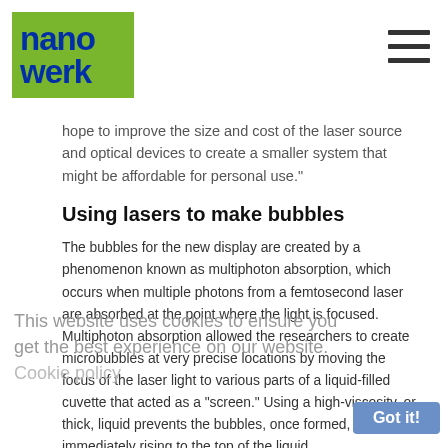nanowerk
hope to improve the size and cost of the laser source and optical devices to create a smaller system that might be affordable for personal use."
Using lasers to make bubbles
The bubbles for the new display are created by a phenomenon known as multiphoton absorption, which occurs when multiple photons from a femtosecond laser are absorbed at the point where the light is focused. Multiphoton absorption allowed the researchers to create microbubbles at very precise locations by moving the focus of the laser light to various parts of a liquid-filled cuvette that acted as a "screen." Using a high-viscosity, or thick, liquid prevents the bubbles, once formed, from immediately rising to the top of the liquid.
This website uses cookies to ensure you get the best experience on our website. Cookie policy
The bubble graphics are viewable when they scatter light from an external light source such as a halogen lamp or high-power LED. The researchers produced monochromatic images in white, red, blue and green